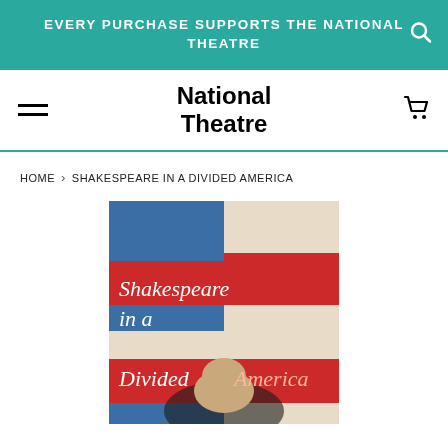EVERY PURCHASE SUPPORTS THE NATIONAL THEATRE
National Theatre
HOME › SHAKESPEARE IN A DIVIDED AMERICA
[Figure (illustration): Book cover of 'Shakespeare in a Divided America' showing American flag design with blue and red stripes, with white serif text and a portrait image at the bottom.]